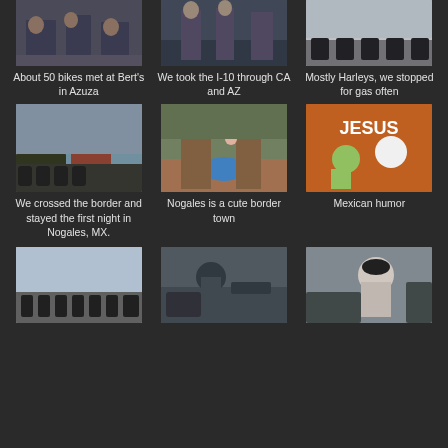[Figure (photo): Group of people with motorcycles at Bert's in Azuza]
About 50 bikes met at Bert's in Azuza
[Figure (photo): People standing on street, I-10 through CA and AZ]
We took the I-10 through CA and AZ
[Figure (photo): Motorcycles stopped for gas, mostly Harleys]
Mostly Harleys, we stopped for gas often
[Figure (photo): Street scene in Nogales with motorcycles parked outside buildings]
We crossed the border and stayed the first night in Nogales, MX.
[Figure (photo): Town square in Nogales with fountain and plaza]
Nogales is a cute border town
[Figure (photo): Orange mural with cartoon characters and text JESUS - Mexican humor]
Mexican humor
[Figure (photo): Long line of motorcycles parked at airfield or large parking area]
[Figure (photo): Motorcyclist with beanie hat among many motorcycles]
[Figure (photo): Motorcyclist with beanie hat close-up with bikes in background]